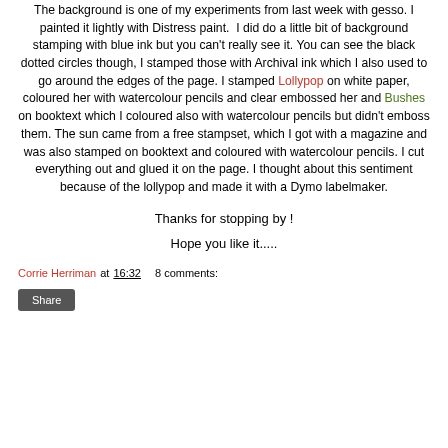The background is one of my experiments from last week with gesso. I painted it lightly with Distress paint. I did do a little bit of background stamping with blue ink but you can't really see it. You can see the black dotted circles though, I stamped those with Archival ink which I also used to go around the edges of the page. I stamped Lollypop on white paper, coloured her with watercolour pencils and clear embossed her and Bushes on booktext which I coloured also with watercolour pencils but didn't emboss them. The sun came from a free stampset, which I got with a magazine and was also stamped on booktext and coloured with watercolour pencils. I cut everything out and glued it on the page. I thought about this sentiment because of the lollypop and made it with a Dymo labelmaker.
Thanks for stopping by !
Hope you like it.....
Corrie Herriman at 16:32   8 comments:
Share